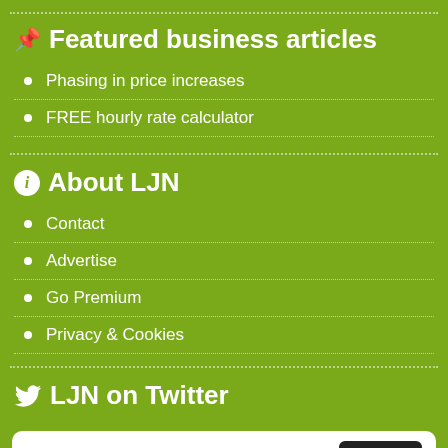Featured business articles
Phasing in price increases
FREE hourly rate calculator
About LJN
Contact
Advertise
Go Premium
Privacy & Cookies
LJN on Twitter
Tweets from @LandscapeJuice  Follow